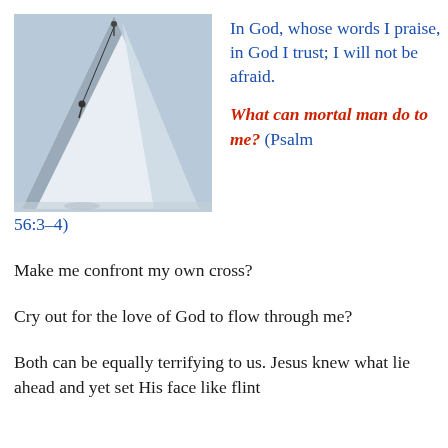[Figure (photo): A person climbing or standing on a large white triangular sail or structure against a grey-blue sky, with another small figure visible lower on the surface.]
In God, whose words I praise, in God I trust; I will not be afraid. What can mortal man do to me? (Psalm 56:3–4)
Make me confront my own cross?
Cry out for the love of God to flow through me?
Both can be equally terrifying to us. Jesus knew what lie ahead and yet set His face like flint